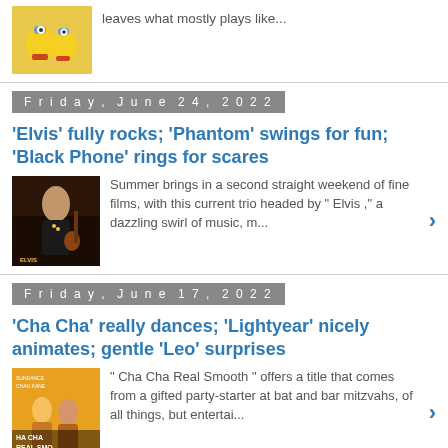[Figure (illustration): Minions movie thumbnail image]
leaves what mostly plays like...
Friday, June 24, 2022
'Elvis' fully rocks; 'Phantom' swings for fun; 'Black Phone' rings for scares
[Figure (photo): Elvis movie promotional image showing a performer with a guitar]
Summer brings in a second straight weekend of fine films, with this current trio headed by " Elvis ," a dazzling swirl of music, m...
Friday, June 17, 2022
'Cha Cha' really dances; 'Lightyear' nicely animates; gentle 'Leo' surprises
[Figure (photo): Cha Cha Real Smooth movie promotional image]
" Cha Cha Real Smooth " offers a title that comes from a gifted party-starter at bat and bar mitzvahs, of all things, but entertai...